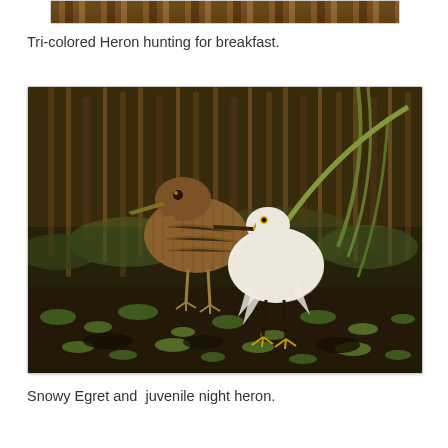[Figure (photo): Partial top strip of a photo showing wooden dock or reeds in warm golden light]
Tri-colored Heron hunting for breakfast.
[Figure (photo): Two wading birds — a Snowy Egret (white) and a juvenile night heron (brown/streaked) — standing among aquatic vegetation in a wetland marsh with reeds and green lily pads in background, warm golden light]
Snowy Egret and  juvenile night heron.